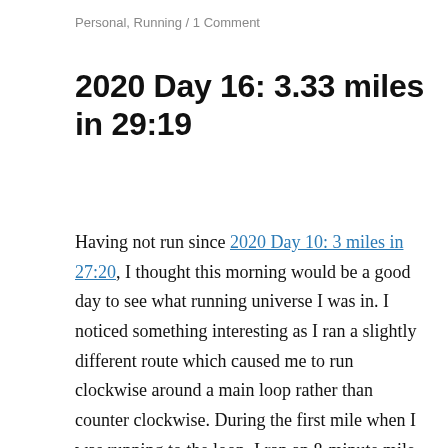Personal, Running / 1 Comment
2020 Day 16: 3.33 miles in 29:19
Having not run since 2020 Day 10: 3 miles in 27:20, I thought this morning would be a good day to see what running universe I was in. I noticed something interesting as I ran a slightly different route which caused me to run clockwise around a main loop rather than counter clockwise. During the first mile when I was running to the loop, I ran an 8-minute mile. But during the second mile when I was running against the flow that I've run every